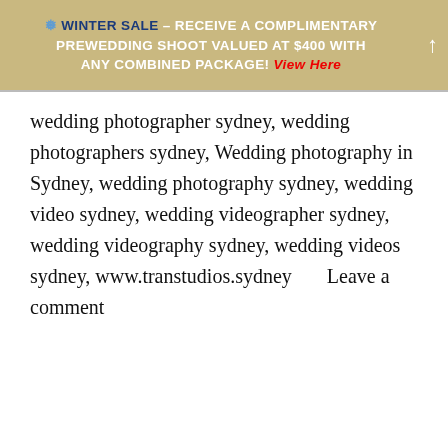❅ WINTER SALE – RECEIVE A COMPLIMENTARY PREWEDDING SHOOT VALUED AT $400 WITH ANY COMBINED PACKAGE! View Here
wedding photographer sydney, wedding photographers sydney, Wedding photography in Sydney, wedding photography sydney, wedding video sydney, wedding videographer sydney, wedding videography sydney, wedding videos sydney, www.transtudios.sydney      Leave a comment